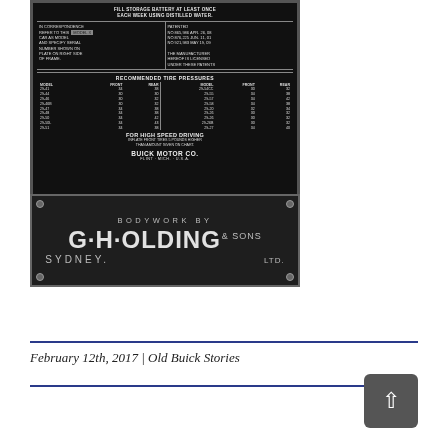[Figure (photo): Black metal data plate for a Buick automobile showing: fill storage battery instructions, patent numbers, recommended tire pressures table for various models (29-41 through 29-54CC etc.), high speed driving instructions, and 'BUICK MOTOR CO. FLINT MICH. U.S.A.' Below it, a separate plate reading 'BODYWORK BY G.H.OLDING & Sons LTD. SYDNEY.']
February 12th, 2017 | Old Buick Stories